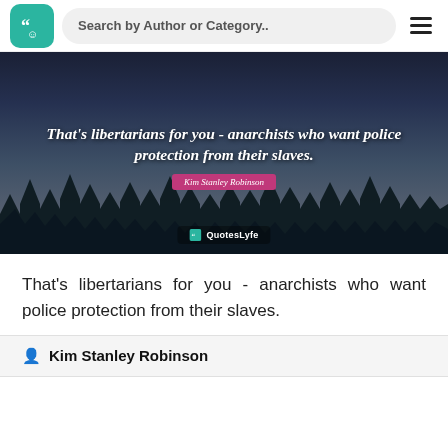[Figure (screenshot): QuotesLyfe website header with logo, search bar, and hamburger menu]
[Figure (photo): Dark forest background with quote overlay: "That's libertarians for you - anarchists who want police protection from their slaves." attributed to Kim Stanley Robinson, with QuotesLyfe watermark]
That's libertarians for you - anarchists who want police protection from their slaves.
Kim Stanley Robinson